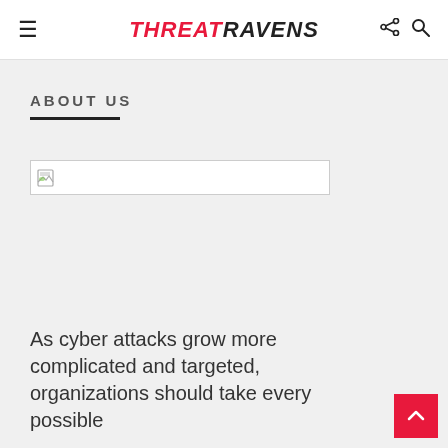THREATRAVENS
ABOUT US
[Figure (other): Broken image placeholder — a white rectangle with a small broken image icon on the left side]
As cyber attacks grow more complicated and targeted, organizations should take every possible